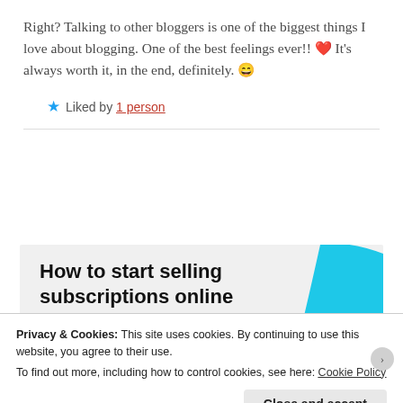Right? Talking to other bloggers is one of the biggest things I love about blogging. One of the best feelings ever!! ❤️ It's always worth it, in the end, definitely. 😄
★ Liked by 1 person
[Figure (infographic): Advertisement banner with bold text 'How to start selling subscriptions online', a purple button partially visible, and a blue curved shape on the right side.]
Privacy & Cookies: This site uses cookies. By continuing to use this website, you agree to their use.
To find out more, including how to control cookies, see here: Cookie Policy
Close and accept